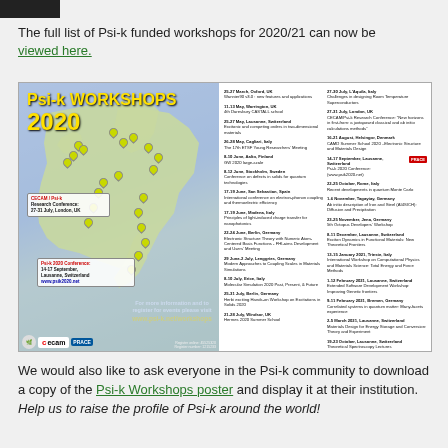The full list of Psi-k funded workshops for 2020/21 can now be viewed here.
[Figure (map): Psi-k Workshops 2020 poster showing a map of Europe with workshop locations marked, event listings for 2020-2021, and sponsor logos (CECAM, PRACE). URL: www.psi-k.net/workshops]
We would also like to ask everyone in the Psi-k community to download a copy of the Psi-k Workshops poster and display it at their institution. Help us to raise the profile of Psi-k around the world!